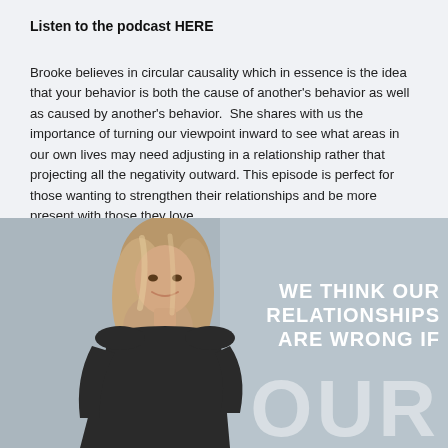Listen to the podcast HERE
Brooke believes in circular causality which in essence is the idea that your behavior is both the cause of another's behavior as well as caused by another's behavior.  She shares with us the importance of turning our viewpoint inward to see what areas in our own lives may need adjusting in a relationship rather that projecting all the negativity outward. This episode is perfect for those wanting to strengthen their relationships and be more present with those they love.
[Figure (photo): A smiling woman with long wavy blonde-brown hair wearing a dark top, posed against a gray-blue background. Overlaid text reads: WE THINK OUR RELATIONSHIPS ARE WRONG IF OUR]